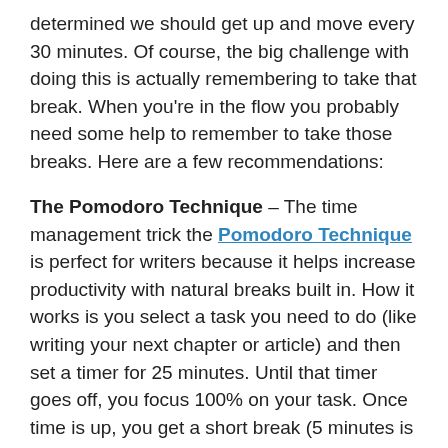determined we should get up and move every 30 minutes. Of course, the big challenge with doing this is actually remembering to take that break. When you're in the flow you probably need some help to remember to take those breaks. Here are a few recommendations:
The Pomodoro Technique – The time management trick the Pomodoro Technique is perfect for writers because it helps increase productivity with natural breaks built in. How it works is you select a task you need to do (like writing your next chapter or article) and then set a timer for 25 minutes. Until that timer goes off, you focus 100% on your task. Once time is up, you get a short break (5 minutes is recommended). This is your time to get up, stretch your legs, refill your coffee, or scroll through Twitter a bit. Just make sure you get up and move around. After your break, you set the timer again. After four